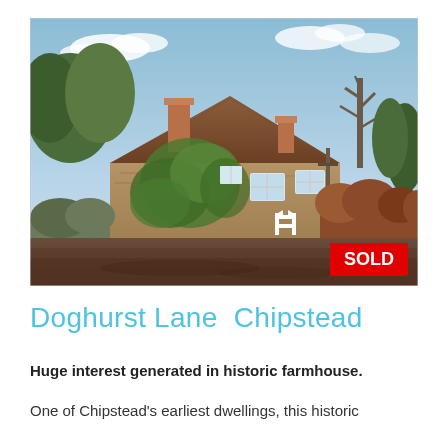[Figure (photo): Exterior photo of a historic stone farmhouse with ivy-covered walls, a steep tiled roof with two brick chimneys, white-framed windows, surrounded by trees and hedges, with a dirt foreground. A red 'SOLD' badge is overlaid in the bottom-right corner of the image.]
Doghurst Lane  Chipstead
Huge interest generated in historic farmhouse.
One of Chipstead's earliest dwellings, this historic